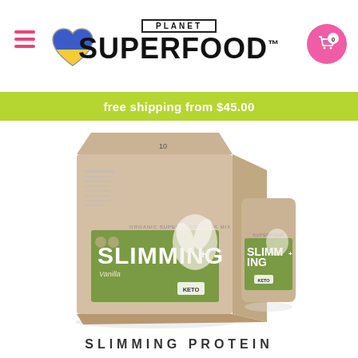PLANET SUPERFOOD™
free shipping from $45.00
[Figure (photo): Planet Superfood Slimming Protein vanilla product box (10 servings) with a single serving packet beside it, both featuring SLIMMING+ label in green and tan packaging with vanilla flower imagery and KETO badge]
SLIMMING PROTEIN